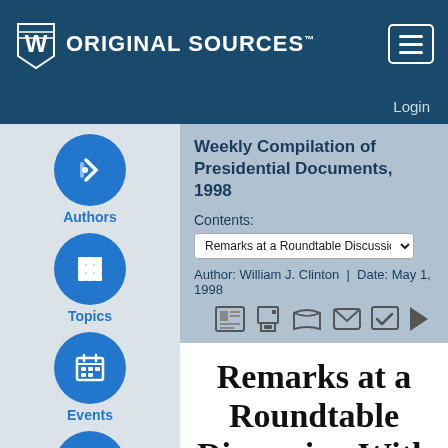Original Sources™
Login
Weekly Compilation of Presidential Documents, 1998
Contents: Remarks at a Roundtable Discussion W...
Author: William J. Clinton  |  Date: May 1, 1998
Remarks at a Roundtable Discussion With Employees of